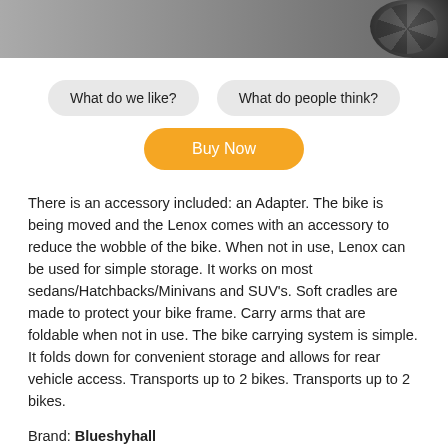[Figure (photo): Partial photo of a tire/wheel at the top of the page, cropped]
What do we like?
What do people think?
Buy Now
There is an accessory included: an Adapter. The bike is being moved and the Lenox comes with an accessory to reduce the wobble of the bike. When not in use, Lenox can be used for simple storage. It works on most sedans/Hatchbacks/Minivans and SUV's. Soft cradles are made to protect your bike frame. Carry arms that are foldable when not in use. The bike carrying system is simple. It folds down for convenient storage and allows for rear vehicle access. Transports up to 2 bikes. Transports up to 2 bikes.
Brand: Blueshyhall